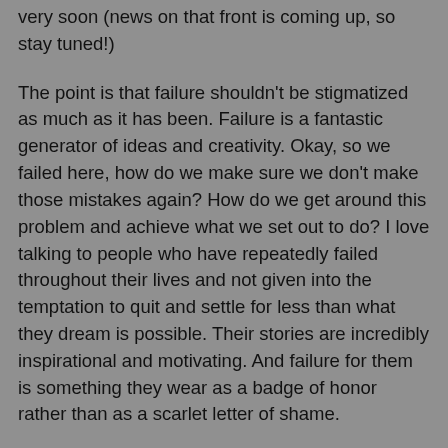very soon (news on that front is coming up, so stay tuned!)
The point is that failure shouldn't be stigmatized as much as it has been. Failure is a fantastic generator of ideas and creativity. Okay, so we failed here, how do we make sure we don't make those mistakes again? How do we get around this problem and achieve what we set out to do? I love talking to people who have repeatedly failed throughout their lives and not given into the temptation to quit and settle for less than what they dream is possible. Their stories are incredibly inspirational and motivating. And failure for them is something they wear as a badge of honor rather than as a scarlet letter of shame.
Nowadays, kids are routinely rewarded for failing, which I think is a dangerous trend. I understand the idea behind it, certainly, that it's tough on a kid to lose and well-meaning parents want to cushion the blow to the ego, stem the insecurity, etc. But it sets a unrealistic expectation that will plague them as they grow older. And that is they will naturally expect everything they do, every activity they undertake, or